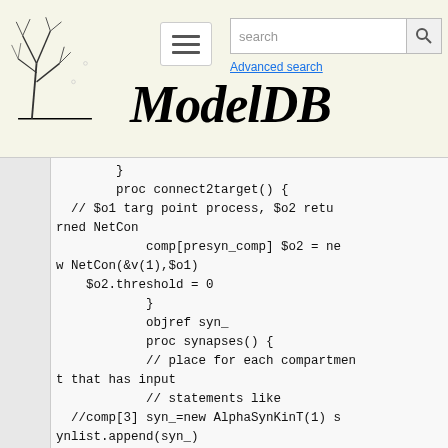ModelDB — Advanced search
}
        proc connect2target() {
  // $o1 targ point process, $o2 returned NetCon
            comp[presyn_comp] $o2 = new NetCon(&v(1),$o1)
    $o2.threshold = 0
            }
            objref syn_
            proc synapses() {
            // place for each compartment that has input
            // statements like
  //comp[3] syn_=new AlphaSynKinT(1) synlist.append(syn_)
  //comp[4] syn_=new NMDA(1) synlist.append(syn_)
            }

  // is not an artificial cell: